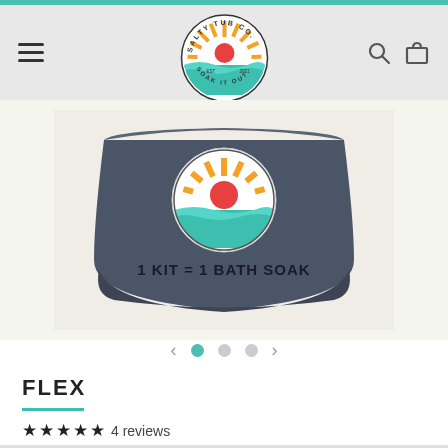Salty Tub Co. — Navigation header with logo, hamburger menu, search and cart icons
[Figure (photo): Gray packaged bath soak product with Salty Tub Co. circular logo on top and text '1 KIT = 1 BATH SOAK' printed on the front]
FLEX
4 reviews